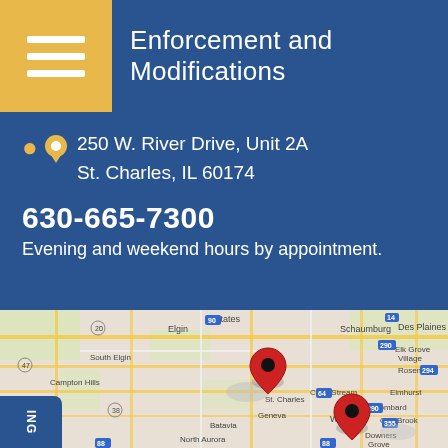Enforcement and Modifications
250 W. River Drive, Unit 2A
St. Charles, IL 60174
630-665-7300
Evening and weekend hours by appointment.
[Figure (map): Google Maps showing the St. Charles, IL area with two red location pin markers — one near St. Charles and one near Wheaton, IL. Major roads and surrounding suburbs including Elgin, Schaumburg, Des Plaines, Carol Stream, Elmhurst, Lombard, Oak Brook, Downers Grove, Geneva, Batavia, and North Aurora are visible.]